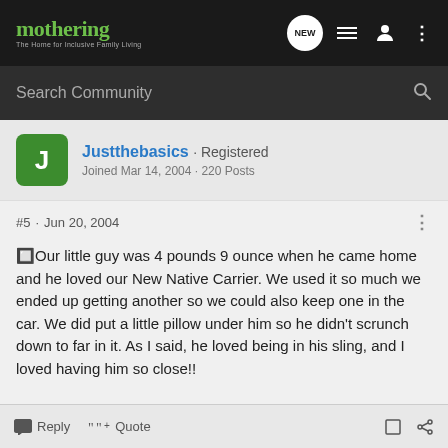mothering - The Home for Inclusive Family Living
Search Community
Justthebasics · Registered
Joined Mar 14, 2004 · 220 Posts
#5 · Jun 20, 2004
Our little guy was 4 pounds 9 ounce when he came home and he loved our New Native Carrier. We used it so much we ended up getting another so we could also keep one in the car. We did put a little pillow under him so he didn't scrunch down to far in it. As I said, he loved being in his sling, and I loved having him so close!!
Reply  Quote